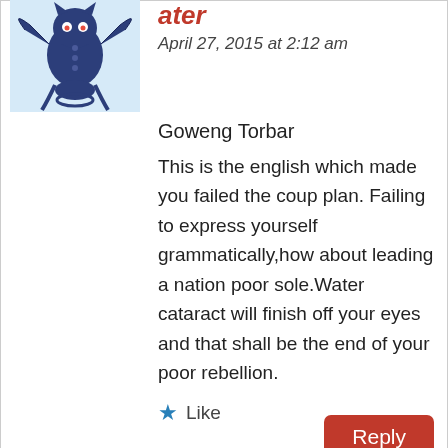[Figure (illustration): Avatar/profile image of a cartoon bat-like creature on a light blue background]
ater
April 27, 2015 at 2:12 am
Goweng Torbar
This is the english which made you failed the coup plan. Failing to express yourself grammatically,how about leading a nation poor sole.Water cataract will finish off your eyes and that shall be the end of your poor rebellion.
★ Like
Reply
Advertisements
Build a writing habit. Post on the go.
GET THE APP